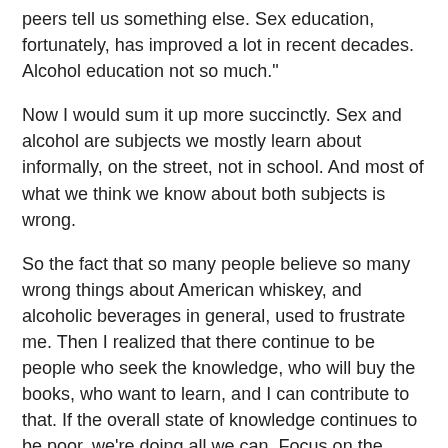peers tell us something else. Sex education, fortunately, has improved a lot in recent decades. Alcohol education not so much."
Now I would sum it up more succinctly. Sex and alcohol are subjects we mostly learn about informally, on the street, not in school. And most of what we think we know about both subjects is wrong.
So the fact that so many people believe so many wrong things about American whiskey, and alcoholic beverages in general, used to frustrate me. Then I realized that there continue to be people who seek the knowledge, who will buy the books, who want to learn, and I can contribute to that. If the overall state of knowledge continues to be poor, we're doing all we can. Focus on the people who seek the knowledge, not those who don't. (hint, hint.)
I can also say, with confidence, that the more you know, the more fun it is, with alcohol and sex.